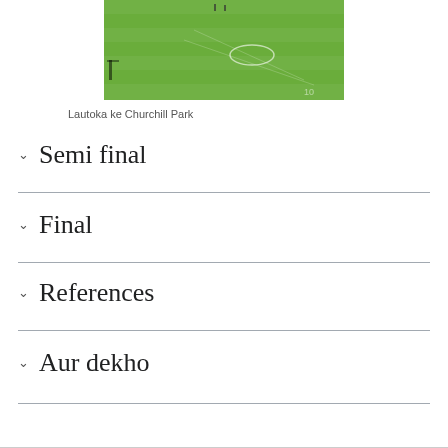[Figure (photo): Aerial/ground-level view of a cricket/football field with green grass at Churchill Park, Lautoka]
Lautoka ke Churchill Park
Semi final
Final
References
Aur dekho